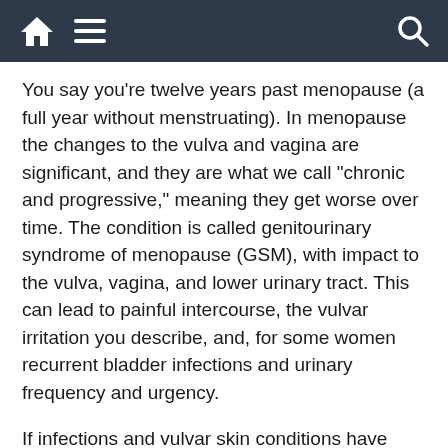[navigation bar with home, menu, and search icons]
You say you're twelve years past menopause (a full year without menstruating). In menopause the changes to the vulva and vagina are significant, and they are what we call “chronic and progressive,” meaning they get worse over time. The condition is called genitourinary syndrome of menopause (GSM), with impact to the vulva, vagina, and lower urinary tract. This can lead to painful intercourse, the vulvar irritation you describe, and, for some women recurrent bladder infections and urinary frequency and urgency.
If infections and vulvar skin conditions have been ruled out, it’s likely you’re seeing symptoms of GSM, and the only really effective solution may be “re-estrogenizing” the vagina. Rest assured, vaginal application of estrogen has no impact outside of the